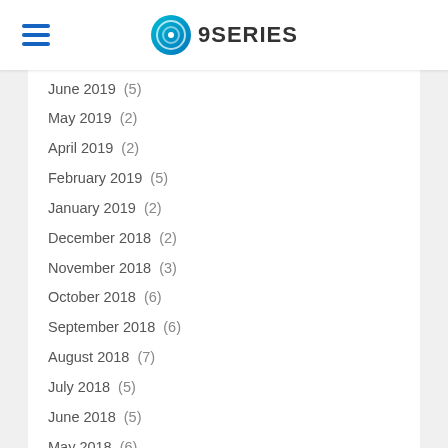9SERIES
June 2019  (5)
May 2019  (2)
April 2019  (2)
February 2019  (5)
January 2019  (2)
December 2018  (2)
November 2018  (3)
October 2018  (6)
September 2018  (6)
August 2018  (7)
July 2018  (5)
June 2018  (5)
May 2018  (6)
April 2018  (8)
March 2018  (2)